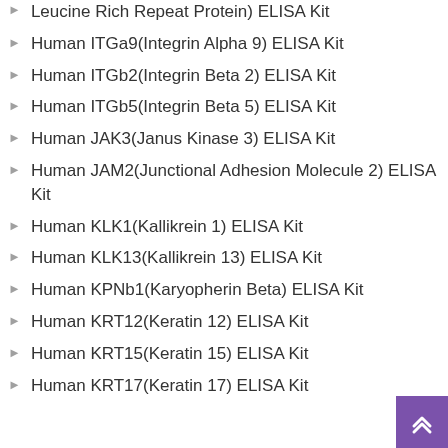Leucine Rich Repeat Protein) ELISA Kit
Human ITGa9(Integrin Alpha 9) ELISA Kit
Human ITGb2(Integrin Beta 2) ELISA Kit
Human ITGb5(Integrin Beta 5) ELISA Kit
Human JAK3(Janus Kinase 3) ELISA Kit
Human JAM2(Junctional Adhesion Molecule 2) ELISA Kit
Human KLK1(Kallikrein 1) ELISA Kit
Human KLK13(Kallikrein 13) ELISA Kit
Human KPNb1(Karyopherin Beta) ELISA Kit
Human KRT12(Keratin 12) ELISA Kit
Human KRT15(Keratin 15) ELISA Kit
Human KRT17(Keratin 17) ELISA Kit